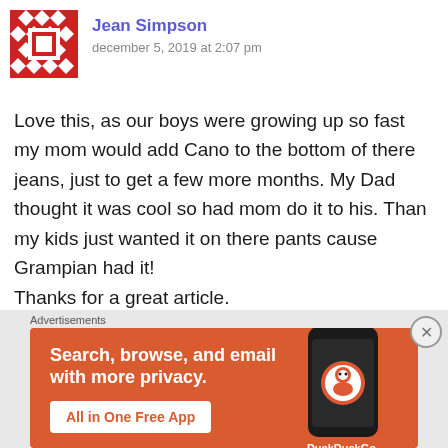Jean Simpson
december 5, 2019 at 2:07 pm
Love this, as our boys were growing up so fast my mom would add Cano to the bottom of there jeans, just to get a few more months. My Dad thought it was cool so had mom do it to his. Than my kids just wanted it on there pants cause Grampian had it!
Thanks for a great article.
Like
[Figure (infographic): DuckDuckGo advertisement banner with orange background. Text reads: Search, browse, and email with more privacy. All in One Free App. Shows a smartphone with DuckDuckGo logo.]